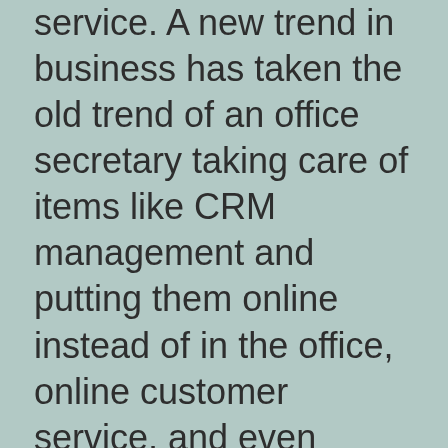service. A new trend in business has taken the old trend of an office secretary taking care of items like CRM management and putting them online instead of in the office, online customer service, and even putting up online ticketing system for customers to make the business a little more open and flexible. Is outsourcing? Is it for your business?
Before you decide that you want to outsource your work, we need to know what you are looking for. We will talk about that later. Today I want to focus on getting your business more profitable. Most of the people try to get a job